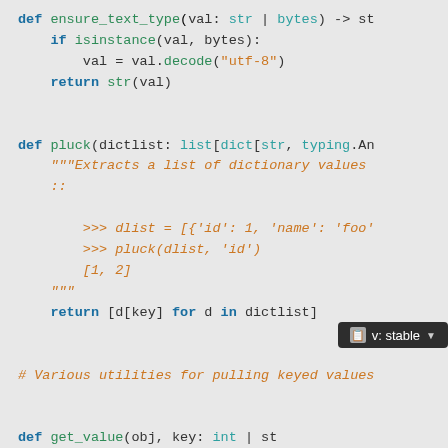def ensure_text_type(val: str | bytes) -> st
    if isinstance(val, bytes):
        val = val.decode("utf-8")
    return str(val)


def pluck(dictlist: list[dict[str, typing.An
    """Extracts a list of dictionary values
    ::

        >>> dlist = [{'id': 1, 'name': 'foo'
        >>> pluck(dlist, 'id')
        [1, 2]
    """
    return [d[key] for d in dictlist]


# Various utilities for pulling keyed values


def get_value(obj, key: int | st
    """Helper for pulling a keyed value off
    this method by default to access attribu
    and attribute `i`, this method first tri